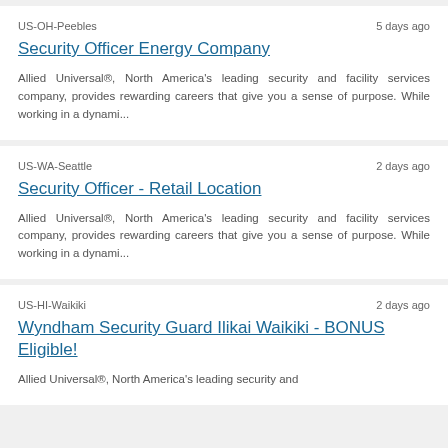US-OH-Peebles | 5 days ago
Security Officer Energy Company
Allied Universal®, North America's leading security and facility services company, provides rewarding careers that give you a sense of purpose. While working in a dynami...
US-WA-Seattle | 2 days ago
Security Officer - Retail Location
Allied Universal®, North America's leading security and facility services company, provides rewarding careers that give you a sense of purpose. While working in a dynami...
US-HI-Waikiki | 2 days ago
Wyndham Security Guard Ilikai Waikiki - BONUS Eligible!
Allied Universal®, North America's leading security and